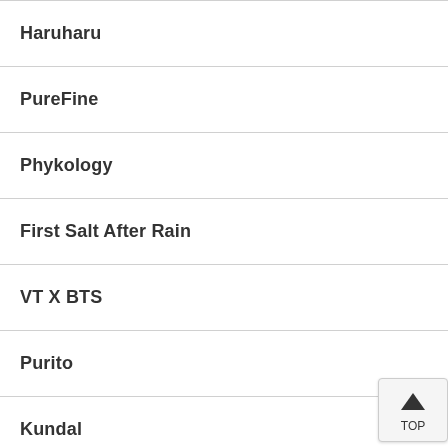Haruharu
PureFine
Phykology
First Salt After Rain
VT X BTS
Purito
Kundal
Let Me Skin